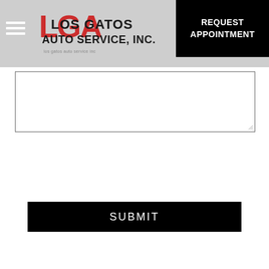Los Gatos Auto Service, Inc.
[Figure (logo): Los Gatos Auto Service, Inc. logo with LGA initials in red and grey text]
REQUEST APPOINTMENT
[Figure (other): Text area input field for form submission]
SUBMIT